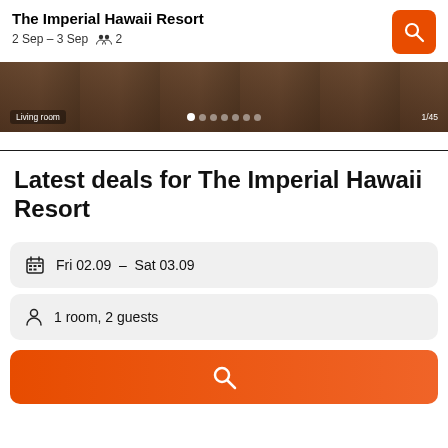The Imperial Hawaii Resort
2 Sep – 3 Sep   👥 2
[Figure (photo): Hotel room photo strip showing living room, with pagination dots and counter 1/45]
Latest deals for The Imperial Hawaii Resort
Fri 02.09 – Sat 03.09
1 room, 2 guests
[Figure (other): Search button (orange with magnifying glass icon)]